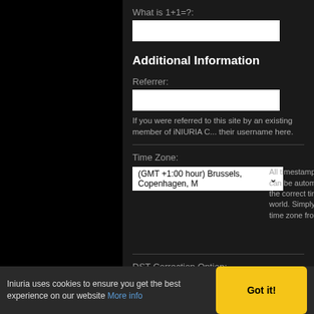What is 1+1=?:
[text input field]
Additional Information
Referrer:
[text input field]
If you were referred to this site by an existing member of iNIURIA C... their username here.
Time Zone:
(GMT +1:00 hour) Brussels, Copenhagen, M ▼
All timestamps displaye... can be automatically co... the correct time for your... world. Simply select the... time zone from the list b...
DST Correction Option:
Automatically detect DST settings ▼
Iniuria uses cookies to ensure you get the best experience on our website More info
Got it!